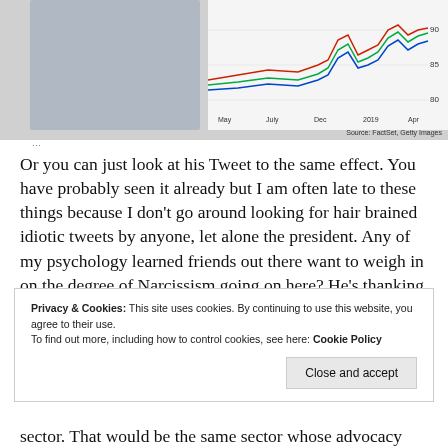[Figure (photo): Top portion of page showing a man in a suit partially overlaid with a financial line chart. Chart shows time axis with labels May, July, Dec, 2019, Apr and y-axis values 80, 85, 90. Source: FactSet, Getty Images.]
Source: FactSet, Getty Images
Or you can just look at his Tweet to the same effect. You have probably seen it already but I am often late to these things because I don’t go around looking for hair brained idiotic tweets by anyone, let alone the president. Any of my psychology learned friends out there want to weigh in on the degree of Narcissism going on here? He’s thanking himself!
Privacy & Cookies: This site uses cookies. By continuing to use this website, you agree to their use. To find out more, including how to control cookies, see here: Cookie Policy
Close and accept
sector. That would be the same sector whose advocacy